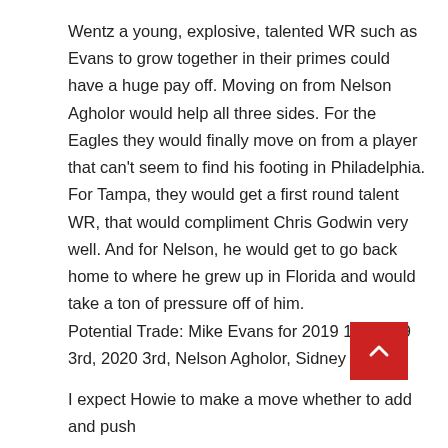Wentz a young, explosive, talented WR such as Evans to grow together in their primes could have a huge pay off. Moving on from Nelson Agholor would help all three sides. For the Eagles they would finally move on from a player that can't seem to find his footing in Philadelphia. For Tampa, they would get a first round talent WR, that would compliment Chris Godwin very well. And for Nelson, he would get to go back home to where he grew up in Florida and would take a ton of pressure off of him.
Potential Trade: Mike Evans for 2019 1st, 2019 3rd, 2020 3rd, Nelson Agholor, Sidney Jones
[Figure (other): Red scroll-to-top button with upward chevron arrow]
I expect Howie to make a move whether to add and push